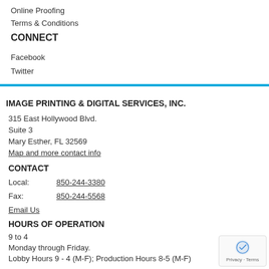Online Proofing
Terms & Conditions
CONNECT
Facebook
Twitter
IMAGE PRINTING & DIGITAL SERVICES, INC.
315 East Hollywood Blvd.
Suite 3
Mary Esther, FL 32569
Map and more contact info
CONTACT
Local: 850-244-3380
Fax: 850-244-5568
Email Us
HOURS OF OPERATION
9 to 4
Monday through Friday.
Lobby Hours 9 - 4 (M-F); Production Hours 8-5 (M-F)